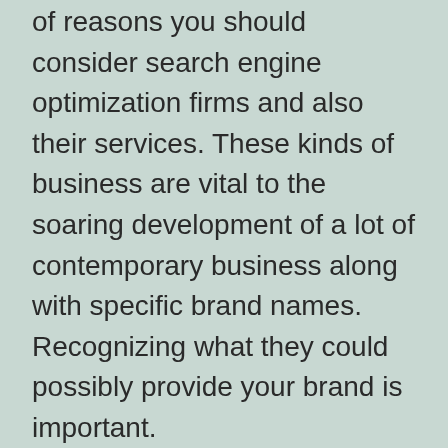of reasons you should consider search engine optimization firms and also their services. These kinds of business are vital to the soaring development of a lot of contemporary business along with specific brand names. Recognizing what they could possibly provide your brand is important.
What is Search engine optimization as well as why would somebody need it? In other words, Search engine optimization means adjusting your web site layout and material to make it more eye-catching to browse engines.
See For Companies